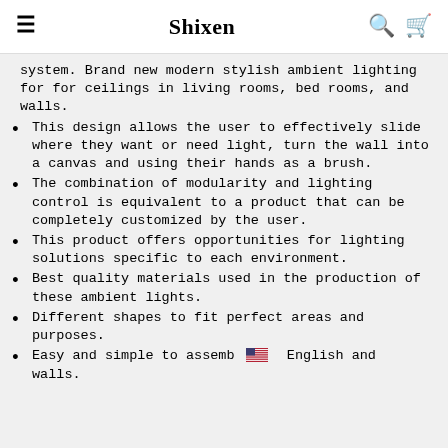≡  Shixen  🔍 🛒
system. Brand new modern stylish ambient lighting for for ceilings in living rooms, bed rooms, and walls.
This design allows the user to effectively slide where they want or need light, turn the wall into a canvas and using their hands as a brush.
The combination of modularity and lighting control is equivalent to a product that can be completely customized by the user.
This product offers opportunities for lighting solutions specific to each environment.
Best quality materials used in the production of these ambient lights.
Different shapes to fit perfect areas and purposes.
Easy and simple to assemb 🇺🇸 English and walls.